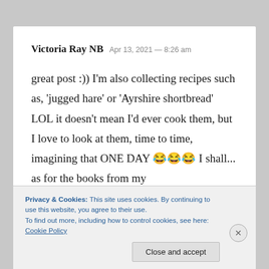Victoria Ray NB  Apr 13, 2021 — 8:26 am
great post :)) I'm also collecting recipes such as, 'jugged hare' or 'Ayrshire shortbread' LOL it doesn't mean I'd ever cook them, but I love to look at them, time to time, imagining that ONE DAY 😂😂😂 I shall... as for the books from my
Privacy & Cookies: This site uses cookies. By continuing to use this website, you agree to their use.
To find out more, including how to control cookies, see here: Cookie Policy
Close and accept